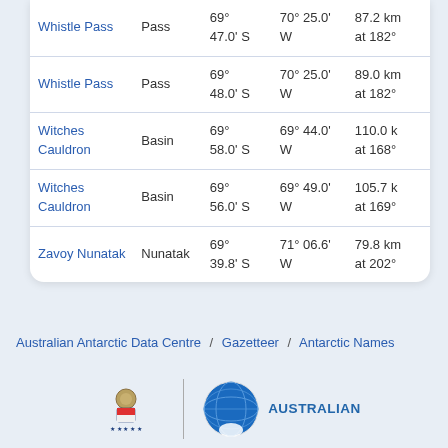| Name | Type | Latitude | Longitude | Distance |
| --- | --- | --- | --- | --- |
| Whistle Pass | Pass | 69° 47.0' S | 70° 25.0' W | 87.2 km at 182° |
| Whistle Pass | Pass | 69° 48.0' S | 70° 25.0' W | 89.0 km at 182° |
| Witches Cauldron | Basin | 69° 58.0' S | 69° 44.0' W | 110.0 k at 168° |
| Witches Cauldron | Basin | 69° 56.0' S | 69° 49.0' W | 105.7 k at 169° |
| Zavoy Nunatak | Nunatak | 69° 39.8' S | 71° 06.6' W | 79.8 km at 202° |
Australian Antarctic Data Centre / Gazetteer / Antarctic Names